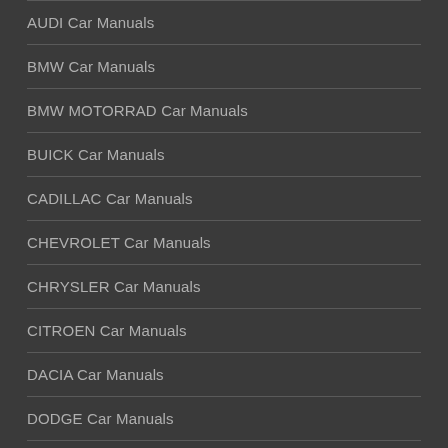AUDI Car Manuals
BMW Car Manuals
BMW MOTORRAD Car Manuals
BUICK Car Manuals
CADILLAC Car Manuals
CHEVROLET Car Manuals
CHRYSLER Car Manuals
CITROEN Car Manuals
DACIA Car Manuals
DODGE Car Manuals
FIAT Car Manuals